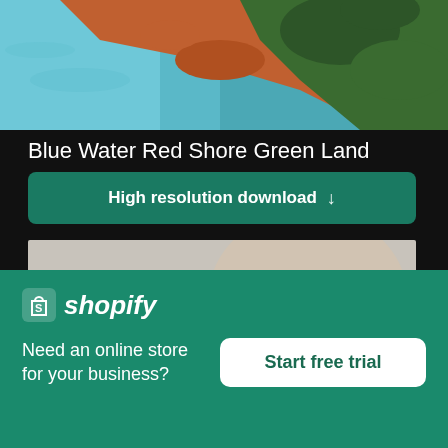[Figure (photo): Aerial photograph showing blue water, red/orange shoreline, and green vegetation/forest from above]
Blue Water Red Shore Green Land
High resolution download ↓
[Figure (photo): Blurred photo of a person in a beige shirt holding a smartphone]
[Figure (screenshot): Shopify advertisement banner with logo, tagline 'Need an online store for your business?' and 'Start free trial' button]